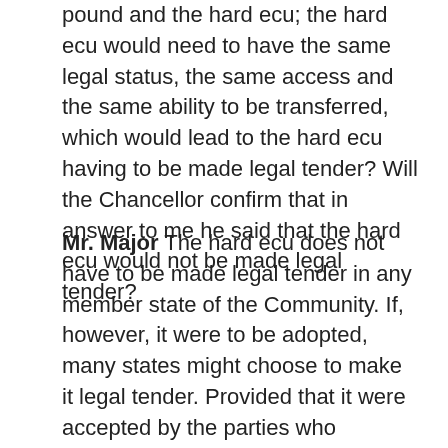pound and the hard ecu; the hard ecu would need to have the same legal status, the same access and the same ability to be transferred, which would lead to the hard ecu having to be made legal tender? Will the Chancellor confirm that in answer to me he said that the hard ecu would not be made legal tender?
Mr. Major The hard ecu does not have to be made legal tender in any member state of the Community. If, however, it were to be adopted, many states might choose to make it legal tender. Provided that it were accepted by the parties who consented to a transaction, the hard ecu could perfectly legally be utilised without formally being made legal tender. I suspect that the hon. Gentleman and I may be able to debate this matter at length at the meeting tomorrow of the Treasury and Civil Service Select Committee. I much look